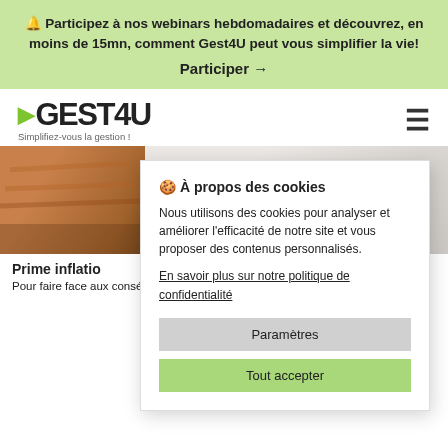🔔 Participez à nos webinars hebdomadaires et découvrez, en moins de 15mn, comment Gest4U peut vous simplifier la vie! Participer →
[Figure (logo): Gest4U logo with green arrow and tagline 'Simplifiez-vous la gestion !']
[Figure (photo): Two article thumbnail images - left shows wooden surface, right shows marble or stone surface with a dark spot]
Prime inflatio
Pour faire face aux conséquences é la mise en place d'une ind nant ...
🍪 À propos des cookies
Nous utilisons des cookies pour analyser et améliorer l'efficacité de notre site et vous proposer des contenus personnalisés.
En savoir plus sur notre politique de confidentialité
Paramètres
Tout accepter